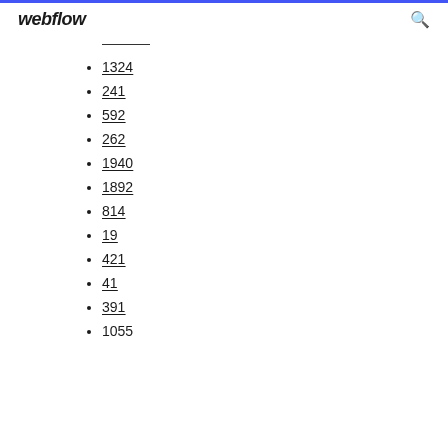webflow
1324
241
592
262
1940
1892
814
19
421
41
391
1055